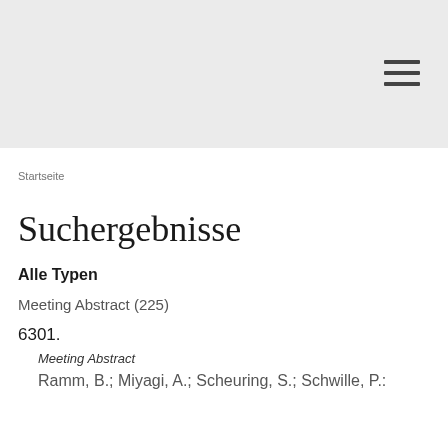Startseite
Suchergebnisse
Alle Typen
Meeting Abstract (225)
6301.
Meeting Abstract
Ramm, B.; Miyagi, A.; Scheuring, S.; Schwille, P.: